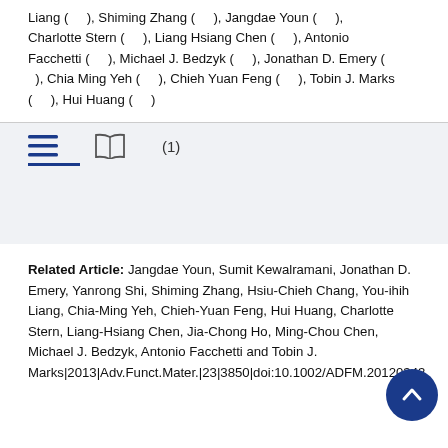Liang (   ), Shiming Zhang (   ), Jangdae Youn (   ), Charlotte Stern (   ), Liang Hsiang Chen (   ), Antonio Facchetti (   ), Michael J. Bedzyk (   ), Jonathan D. Emery (   ), Chia Ming Yeh (   ), Chieh Yuan Feng (   ), Tobin J. Marks (   ), Hui Huang (   )
[Figure (screenshot): Navigation icon bar with hamburger menu icon, book/reading icon, and (1) label, with blue underline beneath the first icon]
Related Article: Jangdae Youn, Sumit Kewalramani, Jonathan D. Emery, Yanrong Shi, Shiming Zhang, Hsiu-Chieh Chang, You-ihih Liang, Chia-Ming Yeh, Chieh-Yuan Feng, Hui Huang, Charlotte Stern, Liang-Hsiang Chen, Jia-Chong Ho, Ming-Chou Chen, Michael J. Bedzyk, Antonio Facchetti and Tobin J. Marks|2013|Adv.Funct.Mater.|23|3850|doi:10.1002/ADFM.20120343